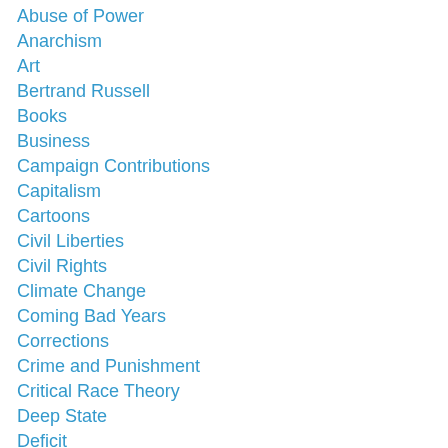Abuse of Power
Anarchism
Art
Bertrand Russell
Books
Business
Campaign Contributions
Capitalism
Cartoons
Civil Liberties
Civil Rights
Climate Change
Coming Bad Years
Corrections
Crime and Punishment
Critical Race Theory
Deep State
Deficit
Economy
Education